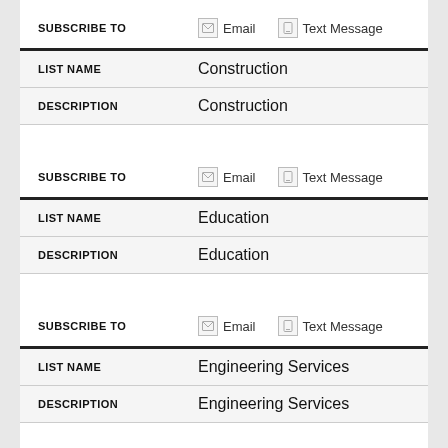| SUBSCRIBE TO | Email | Text Message |
| --- | --- | --- |
| LIST NAME | Construction |  |
| DESCRIPTION | Construction |  |
| SUBSCRIBE TO | Email | Text Message |
| --- | --- | --- |
| LIST NAME | Education |  |
| DESCRIPTION | Education |  |
| SUBSCRIBE TO | Email | Text Message |
| --- | --- | --- |
| LIST NAME | Engineering Services |  |
| DESCRIPTION | Engineering Services |  |